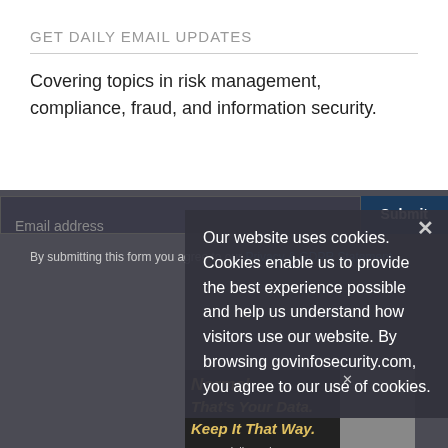GET DAILY EMAIL UPDATES
Covering topics in risk management, compliance, fraud, and information security.
Email address
Submit
By submitting this form you agree to our Privacy & GDPR Statement.
Our website uses cookies. Cookies enable us to provide the best experience possible and help us understand how visitors use our website. By browsing govinfosecurity.com, you agree to our use of cookies.
Normal
That's Your Data. Keep It That Way.
...malware delivered via email with a new approach to email security.